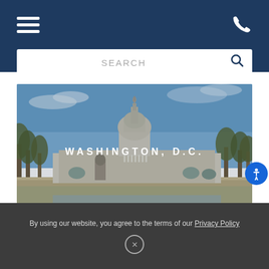[Figure (screenshot): Navigation bar with hamburger menu icon on left and phone icon on right, dark navy blue background]
SEARCH
[Figure (photo): Photograph of Washington D.C. showing the U.S. Capitol building with trees, monuments and blue sky. Overlaid text reads WASHINGTON, D.C.]
750 Ninth Street, Suite 501
Washington, D.C. 20001
By using our website, you agree to the terms of our Privacy Policy